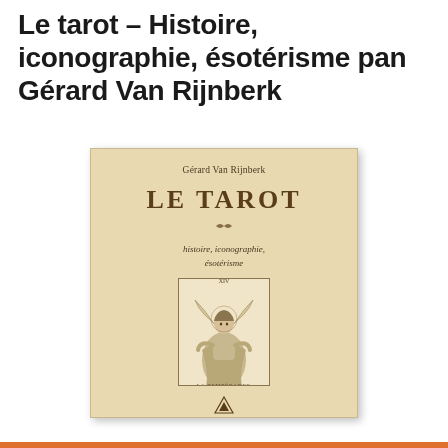Le tarot – Histoire, iconographie, ésotérisme pan Gérard Van Rijnberk
[Figure (photo): Book cover of 'Le Tarot – histoire, iconographie, ésotérisme' by Gérard Van Rijnberk. Beige/tan colored cover with author name at top, large title 'LE TAROT' in bold serif, subtitle 'histoire, iconographie, ésotérisme' in italic, a tarot card illustration (La Tempérance / angel figure), and a publisher logo (triangle) at bottom.]